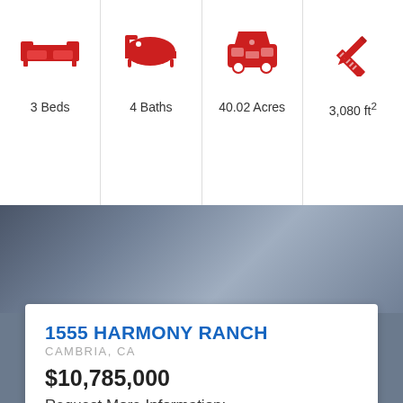[Figure (infographic): Four property feature icons in red: sofa/bed icon for 3 Beds, bathtub icon for 4 Baths, car/garage icon for 40.02 Acres, tools/pencil icon for 3,080 ft²]
3 Beds
4 Baths
40.02 Acres
3,080 ft²
1555 HARMONY RANCH
CAMBRIA, CA
$10,785,000
Request More Information:
Name
Email Address
Phone Number
Send a Mess...